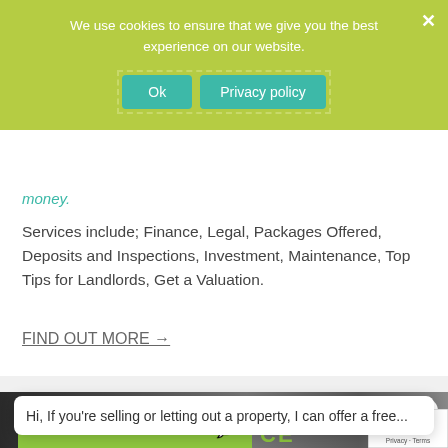We use cookies to ensure that we give you the best experience on our website.
Ok | Privacy policy
Services include; Finance, Legal, Packages Offered, Deposits and Inspections, Investment, Maintenance, Top Tips for Landlords, Get a Valuation.
FIND OUT MORE →
[Figure (photo): Photo strip showing people wearing Julie Twist Properties branded clothing/caps outdoors]
Hi, If you're selling or letting out a property, I can offer a free...
We're online now!